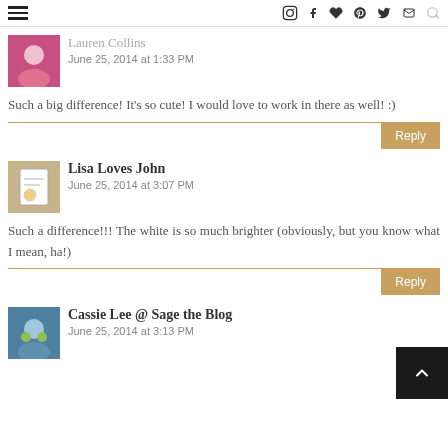Navigation bar with hamburger menu and social icons (Instagram, Facebook, heart, Pinterest, Twitter, email, search)
Lauren Collins
June 25, 2014 at 1:33 PM
Such a big difference! It's so cute! I would love to work in there as well! :)
Reply
Lisa Loves John
June 25, 2014 at 3:07 PM
Such a difference!!! The white is so much brighter (obviously, but you know what I mean, ha!)
Reply
Cassie Lee @ Sage the Blog
June 25, 2014 at 3:13 PM